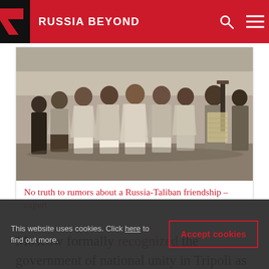RUSSIA BEYOND
[Figure (photo): A group of armed men in traditional Afghan/Middle Eastern dress standing in a line, one holding a machine gun with ammunition belt.]
No truth to rumors about a Russia-Taliban friendship – expert
Moscow formally recognized the government of national unity in Tripoli as the legitimate authority in Libya, but has partnered with General Haftar and...
This website uses cookies. Click here to find out more.